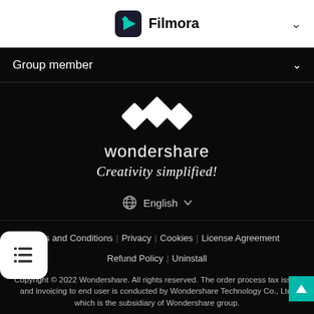[Figure (logo): Filmora app icon (dark background with teal/green play triangle) and bold text 'Filmora' in the top white navigation bar]
Group member
[Figure (logo): Wondershare logo: white diamond/chevron shapes on black background, white text 'wondershare', cursive tagline 'Creativity simplified!']
English
Terms and Conditions   Privacy   Cookies   License Agreement   Refund Policy   Uninstall
Copyright © 2022 Wondershare. All rights reserved. The order process tax issue and invoicing to end user is conducted by Wondershare Technology Co., Ltd, which is the subsidiary of Wondershare group.